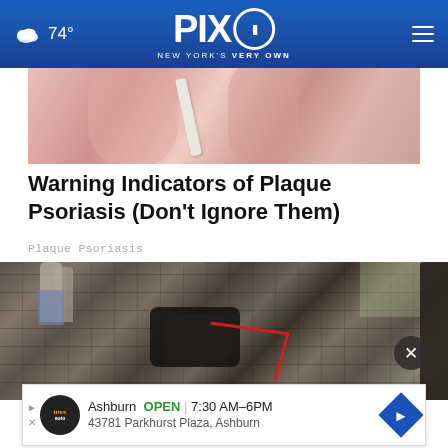74° PIX11 NEW YORK'S VERY OWN
[Figure (photo): Close-up photo of skin showing a white medical strip/bandage on a person's hand or foot]
Warning Indicators of Plaque Psoriasis (Don't Ignore Them)
Plaque Psoriasis
[Figure (photo): Outdoor photo showing what appears to be a bicycle or vehicle accident on a paved street, with people and a red cord/leash visible]
Ashburn  OPEN | 7:30 AM–6PM  43781 Parkhurst Plaza, Ashburn